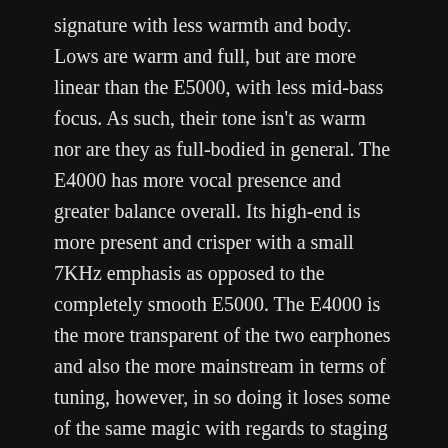signature with less warmth and body. Lows are warm and full, but are more linear than the E5000, with less mid-bass focus. As such, their tone isn't as warm nor are they as full-bodied in general. The E4000 has more vocal presence and greater balance overall. Its high-end is more present and crisper with a small 7KHz emphasis as opposed to the completely smooth E5000. The E4000 is the more transparent of the two earphones and also the more mainstream in terms of tuning, however, in so doing it loses some of the same magic with regards to staging and composition.
Bass –
Where the E5000 has bold, thick and warm notes, the E4000 is cleaner and more linear. It retains terrific